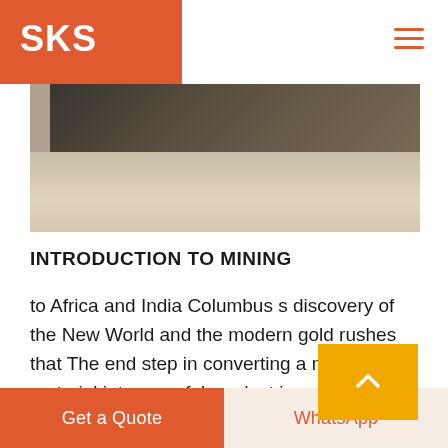SKS
[Figure (photo): Close-up photo of a dark mining tool or boot on a sandy/rocky light-coloured surface]
INTRODUCTION TO MINING
to Africa and India Columbus s discovery of the New World and the modern gold rushes that The end step in converting a mineral material into a useful product is marketing Surface mining progresses underground in Swaziland 30 000 seams or bedded deposits like co a